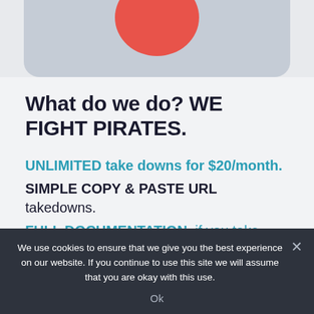[Figure (photo): Partial view of a red/coral colored spherical object against a light blue-gray background, cropped at top of page with rounded bottom corners]
What do we do? WE FIGHT PIRATES.
UNLIMITED take downs for $20/month.
SIMPLE COPY & PASTE URL takedowns.
FULL DOCUMENTATION, if you take legal action.
We use cookies to ensure that we give you the best experience on our website. If you continue to use this site we will assume that you are okay with this use.
Ok